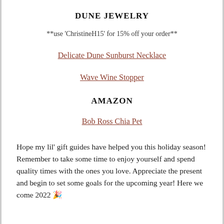DUNE JEWELRY
**use 'ChristineH15' for 15% off your order**
Delicate Dune Sunburst Necklace
Wave Wine Stopper
AMAZON
Bob Ross Chia Pet
Hope my lil' gift guides have helped you this holiday season! Remember to take some time to enjoy yourself and spend quality times with the ones you love. Appreciate the present and begin to set some goals for the upcoming year! Here we come 2022 🎉